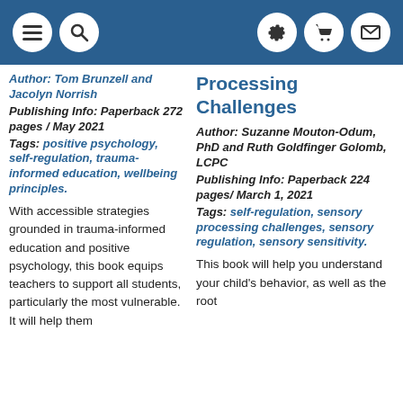Navigation header with menu, search, settings, cart, and mail icons
Author: Tom Brunzell and Jacolyn Norrish
Publishing Info: Paperback 272 pages / May 2021
Tags: positive psychology, self-regulation, trauma-informed education, wellbeing principles.
With accessible strategies grounded in trauma-informed education and positive psychology, this book equips teachers to support all students, particularly the most vulnerable. It will help them
Processing Challenges
Author: Suzanne Mouton-Odum, PhD and Ruth Goldfinger Golomb, LCPC
Publishing Info: Paperback 224 pages/ March 1, 2021
Tags: self-regulation, sensory processing challenges, sensory regulation, sensory sensitivity.
This book will help you understand your child's behavior, as well as the root